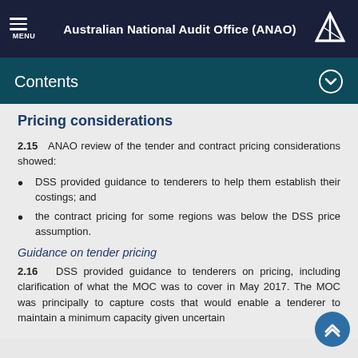Australian National Audit Office (ANAO)
Contents
Pricing considerations
2.15   ANAO review of the tender and contract pricing considerations showed:
DSS provided guidance to tenderers to help them establish their costings; and
the contract pricing for some regions was below the DSS price assumption.
Guidance on tender pricing
2.16   DSS provided guidance to tenderers on pricing, including clarification of what the MOC was to cover in May 2017. The MOC was principally to capture costs that would enable a tenderer to maintain a minimum capacity given uncertain